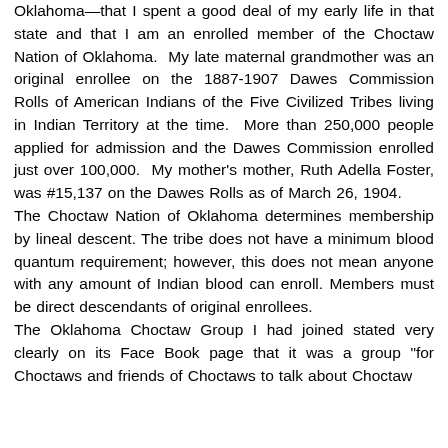Oklahoma—that I spent a good deal of my early life in that state and that I am an enrolled member of the Choctaw Nation of Oklahoma.  My late maternal grandmother was an original enrollee on the 1887-1907 Dawes Commission Rolls of American Indians of the Five Civilized Tribes living in Indian Territory at the time.  More than 250,000 people applied for admission and the Dawes Commission enrolled just over 100,000.  My mother's mother, Ruth Adella Foster, was #15,137 on the Dawes Rolls as of March 26, 1904.
The Choctaw Nation of Oklahoma determines membership by lineal descent. The tribe does not have a minimum blood quantum requirement; however, this does not mean anyone with any amount of Indian blood can enroll. Members must be direct descendants of original enrollees.
The Oklahoma Choctaw Group I had joined stated very clearly on its Face Book page that it was a group "for Choctaws and friends of Choctaws to talk about Choctaw things" but the bottom was cut off.